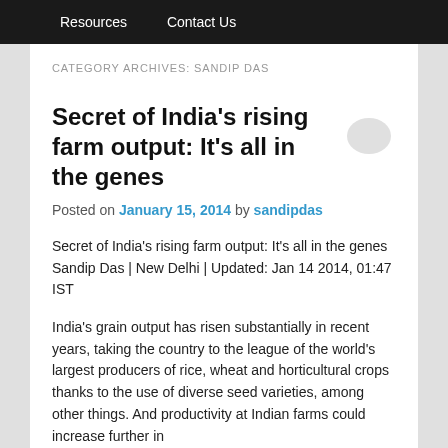Resources   Contact Us
CATEGORY ARCHIVES: SANDIP DAS
Secret of India's rising farm output: It's all in the genes
Posted on January 15, 2014 by sandipdas
Secret of India's rising farm output: It's all in the genes Sandip Das | New Delhi | Updated: Jan 14 2014, 01:47 IST
India's grain output has risen substantially in recent years, taking the country to the league of the world's largest producers of rice, wheat and horticultural crops thanks to the use of diverse seed varieties, among other things. And productivity at Indian farms could increase further in